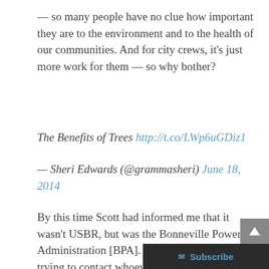— so many people have no clue how important they are to the environment and to the health of our communities. And for city crews, it's just more work for them — so why bother?
The Benefits of Trees http://t.co/LWp6uGDiz1
— Sheri Edwards (@grammasheri) June 18, 2014
By this time Scott had informed me that it wasn't USBR, but was the Bonneville Power Administration [BPA]. And Bob Valen was trying to contact whoever was in charge at BPA.